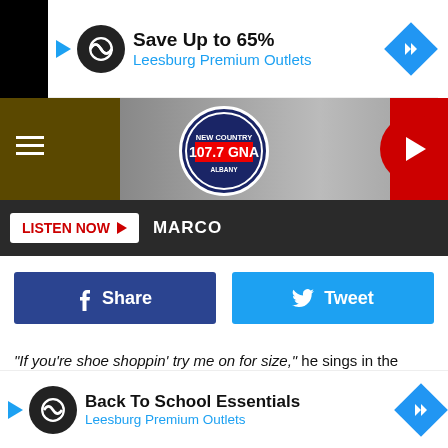[Figure (screenshot): Top advertisement banner: Save Up to 65% - Leesburg Premium Outlets with infinity logo and navigation arrow diamond]
[Figure (screenshot): Radio station header with hamburger menu, 107.7 GNA New Country Albany logo, background image, and red play button]
LISTEN NOW ▶  MARCO
[Figure (screenshot): Facebook Share button (dark blue) and Twitter Tweet button (light blue)]
“If you’re shoe shoppin’ try me on for size,” he sings in the chorus. Later they'd try another new song called "Be With Me" out on the fans. The response was positive, but as per usual, ...ngs
[Figure (screenshot): Bottom advertisement banner: Back To School Essentials - Leesburg Premium Outlets]